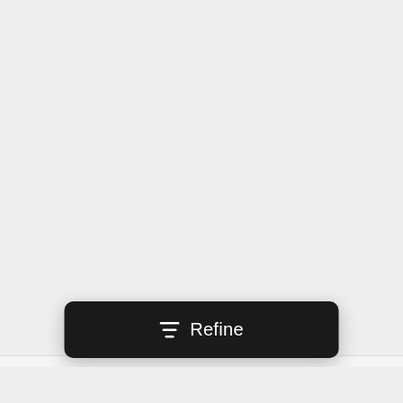[Figure (photo): A card showing an image placeholder (grey area) for a seafood BBQ cooking class listing]
Seafood BBQ Cooking Class
Hunter Valley -  $135
[Figure (screenshot): A dark rounded button with a filter/refine icon and the label 'Refine']